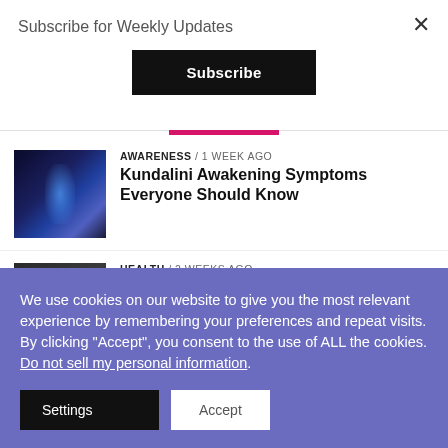Subscribe for Weekly Updates
Subscribe
AWARENESS / 1 week ago
Kundalini Awakening Symptoms Everyone Should Know
[Figure (photo): Dark blue abstract cosmic/energy image]
HEALTH / 2 weeks ago
[Figure (photo): Dark grayscale image, partially visible]
We use cookies on our website to give you the most relevant experience by remembering your preferences and repeat visits. By clicking “Accept”, you consent to the use of ALL the cookies. Do not sell my personal information.
Settings
Accept